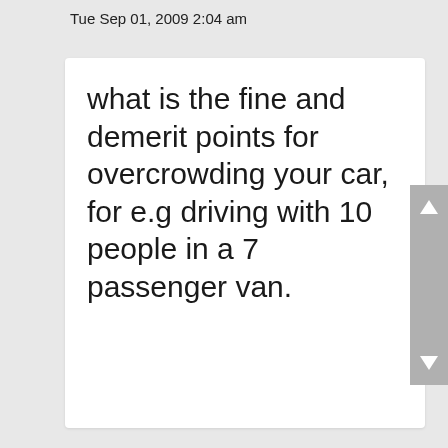Tue Sep 01, 2009 2:04 am
what is the fine and demerit points for overcrowding your car, for e.g driving with 10 people in a 7 passenger van.